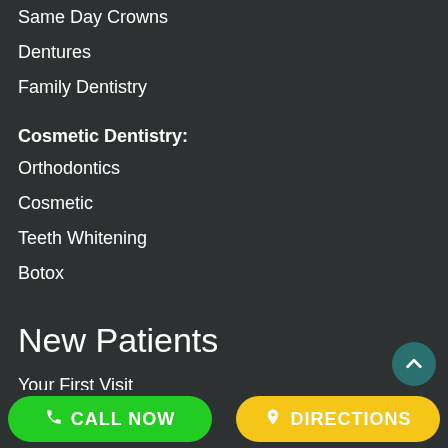Same Day Crowns
Dentures
Family Dentistry
Cosmetic Dentistry:
Orthodontics
Cosmetic
Teeth Whitening
Botox
New Patients
Your First Visit
Forms